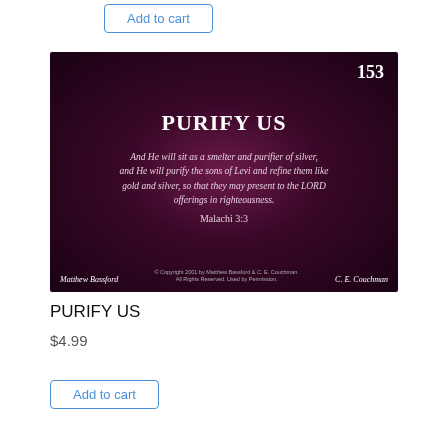Add to cart
[Figure (illustration): A dark purple/maroon card with number 153 in top right, title 'PURIFY US' in white bold, italic Bible verse text, reference Malachi 3:3, and author names Matthew Bassford and C. E. Couchman at bottom with copyright notice.]
PURIFY US
$4.99
Add to cart